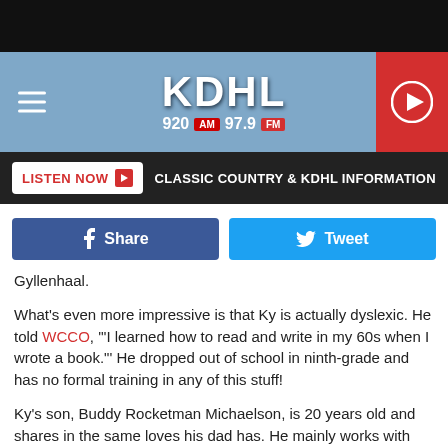KDHL 920 AM 97.9 FM — Classic Country & KDHL Information
LISTEN NOW ▶   CLASSIC COUNTRY & KDHL INFORMATION
[Figure (screenshot): Facebook Share button and Twitter Tweet button]
Gyllenhaal.
What's even more impressive is that Ky is actually dyslexic. He told WCCO, '"I learned how to read and write in my 60s when I wrote a book."' He dropped out of school in ninth-grade and has no formal training in any of this stuff!
Ky's son, Buddy Rocketman Michaelson, is 20 years old and shares in the same loves his dad has. He mainly works with the parachutes they create. And yes, Rocketman is Buddy's